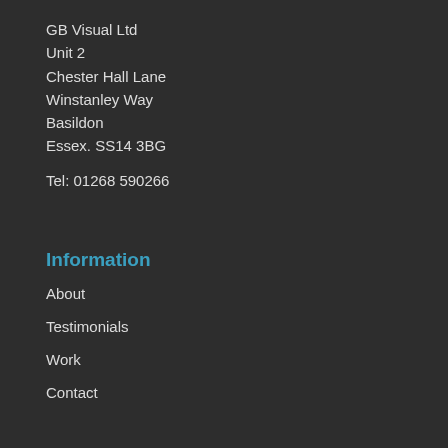GB Visual Ltd
Unit 2
Chester Hall Lane
Winstanley Way
Basildon
Essex. SS14 3BG

Tel: 01268 590266
Information
About
Testimonials
Work
Contact